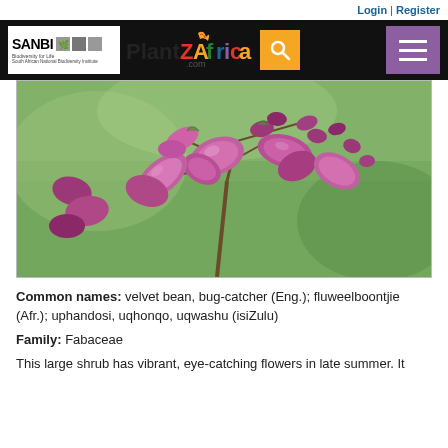Login | Register
[Figure (photo): Close-up photograph of vibrant pink-purple flowers (velvet bean / Mucuna) in bloom against a green blurred background. The flowers are tubular and clustered on a stem with buds visible.]
Common names: velvet bean, bug-catcher (Eng.); fluweelboontjie (Afr.); uphandosi, uqhonqo, uqwashu (isiZulu)
Family: Fabaceae
This large shrub has vibrant, eye-catching flowers in late summer. It